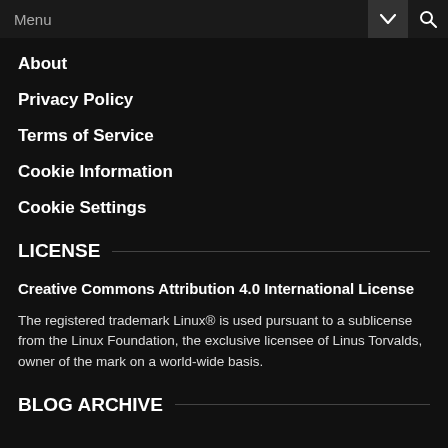Menu
About
Privacy Policy
Terms of Service
Cookie Information
Cookie Settings
LICENSE
Creative Commons Attribution 4.0 International License
The registered trademark Linux® is used pursuant to a sublicense from the Linux Foundation, the exclusive licensee of Linus Torvalds, owner of the mark on a world-wide basis.
BLOG ARCHIVE